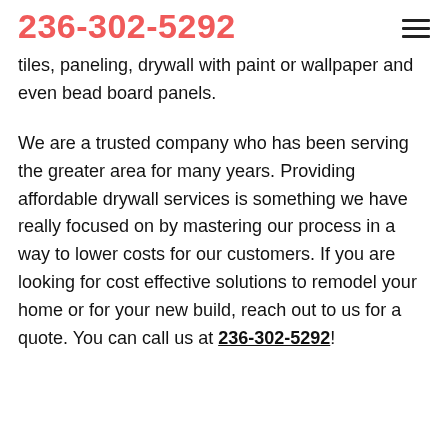236-302-5292
tiles, paneling, drywall with paint or wallpaper and even bead board panels.
We are a trusted company who has been serving the greater area for many years. Providing affordable drywall services is something we have really focused on by mastering our process in a way to lower costs for our customers. If you are looking for cost effective solutions to remodel your home or for your new build, reach out to us for a quote. You can call us at 236-302-5292!